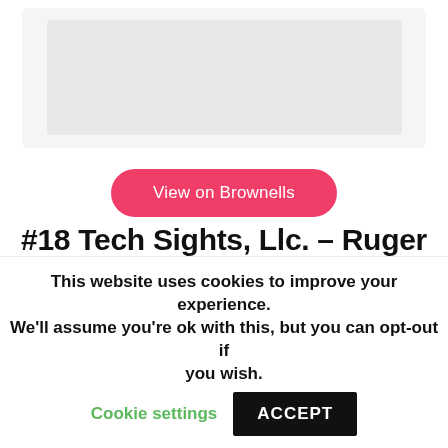[Figure (photo): Product image placeholder area at top of page]
View on Brownells
#18 Tech Sights, Llc. – Ruger 10/22 Tsr100 Gi-Style Sight Set
[Figure (photo): Product image placeholder area at bottom of page]
This website uses cookies to improve your experience. We'll assume you're ok with this, but you can opt-out if you wish. Cookie settings ACCEPT